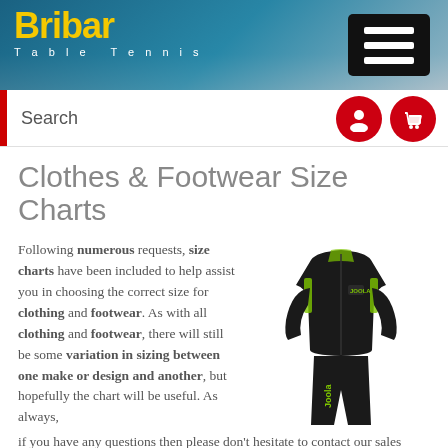[Figure (logo): Bribar Table Tennis logo with yellow text on teal/blue header background]
[Figure (other): Black hamburger menu icon with three white horizontal lines on dark background]
Search
[Figure (other): Two red circular icons: person/account icon and shopping basket icon]
Clothes & Footwear Size Charts
Following numerous requests, size charts have been included to help assist you in choosing the correct size for clothing and footwear. As with all clothing and footwear, there will still be some variation in sizing between one make or design and another, but hopefully the chart will be useful. As always, if you have any questions then please don't hesitate to contact our sales team who are more than happy to help if you are in any doubt
[Figure (photo): Black and green Joola tracksuit/sports clothing set consisting of jacket and trousers on white background]